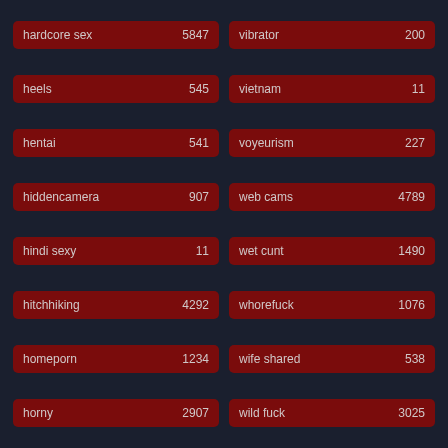hardcore sex 5847
vibrator 200
heels 545
vietnam 11
hentai 541
voyeurism 227
hiddencamera 907
web cams 4789
hindi sexy 11
wet cunt 1490
hitchhiking 4292
whorefuck 1076
homeporn 1234
wife shared 538
horny 2907
wild fuck 3025